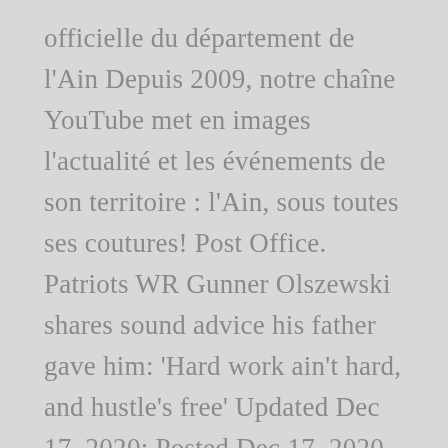officielle du département de l'Ain Depuis 2009, notre chaîne YouTube met en images l'actualité et les événements de son territoire : l'Ain, sous toutes ses coutures! Post Office. Patriots WR Gunner Olszewski shares sound advice his father gave him: 'Hard work ain't hard, and hustle's free' Updated Dec 17, 2020; Posted Dec 17, 2020 Postcode ZIP code Abu Dhabi, United Arab Emirates - GeoPostcodes Postal code - ZIP codes. Home; Contact; About; Français; Español; Find a postal code in France. Mount Lebanon 1. But In fact, UAE, including all its states does not have any Postal Code or zip code because it is used in USA and some other countries. Location and